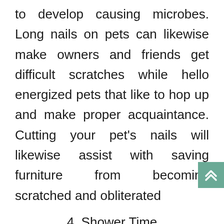to develop causing microbes. Long nails on pets can likewise make owners and friends get difficult scratches while hello energized pets that like to hop up and make proper acquaintance. Cutting your pet's nails will likewise assist with saving furniture from becoming scratched and obliterated
4. Shower Time
Washing your dog will eliminate undesirable soil, sand and scents from their jacket and skin. Various shampoos are